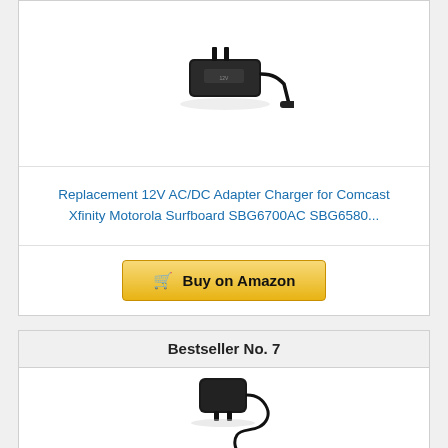[Figure (photo): AC/DC power adapter charger with cable, shown on white background]
Replacement 12V AC/DC Adapter Charger for Comcast Xfinity Motorola Surfboard SBG6700AC SBG6580...
[Figure (other): Buy on Amazon button with shopping cart icon]
Bestseller No. 7
[Figure (photo): Small black AC/DC power adapter with coiled cable]